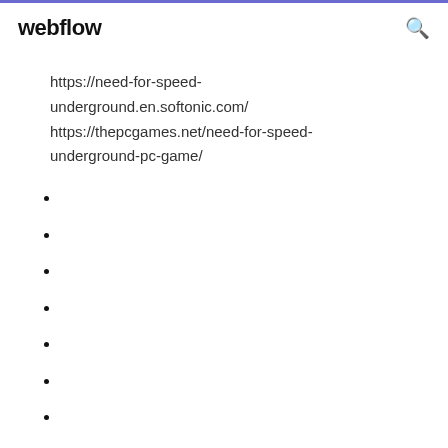webflow
https://need-for-speed-underground.en.softonic.com/
https://thepcgames.net/need-for-speed-underground-pc-game/